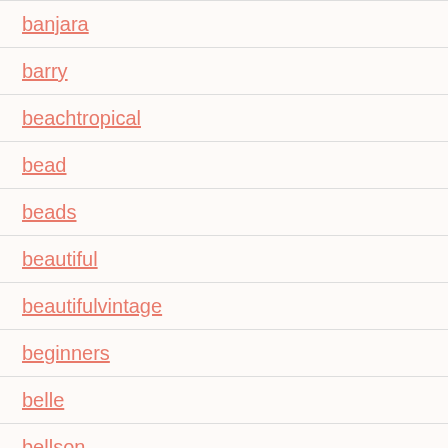banjara
barry
beachtropical
bead
beads
beautiful
beautifulvintage
beginners
belle
bellson